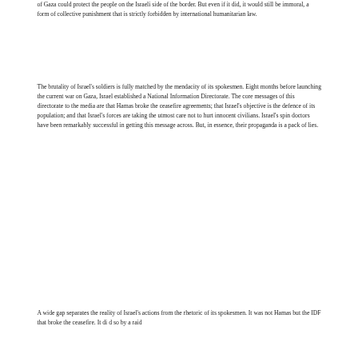of Gaza could protect the people on the Israeli side of the border. But even if it did, it would still be immoral, a form of collective punishment that is strictly forbidden by international humanitarian law.
The brutality of Israel's soldiers is fully matched by the mendacity of its spokesmen. Eight months before launching the current war on Gaza, Israel established a National Information Directorate. The core messages of this directorate to the media are that Hamas broke the ceasefire agreements; that Israel's objective is the defence of its population; and that Israel's forces are taking the utmost care not to hurt innocent civilians. Israel's spin doctors have been remarkably successful in getting this message across. But, in essence, their propaganda is a pack of lies.
A wide gap separates the reality of Israel's actions from the rhetoric of its spokesmen. It was not Hamas but the IDF that broke the ceasefire. It did so by a raid